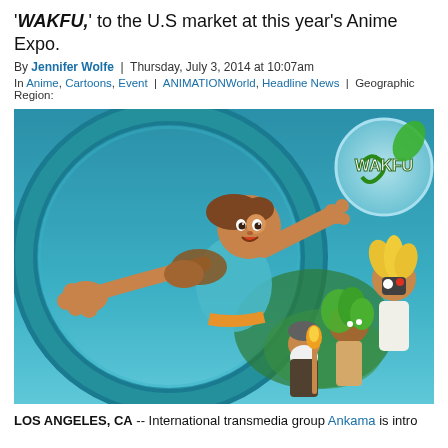'WAKFU,' to the U.S market at this year's Anime Expo.
By Jennifer Wolfe | Thursday, July 3, 2014 at 10:07am
In Anime, Cartoons, Event | ANIMATIONWorld, Headline News | Geographic Region:
[Figure (illustration): WAKFU animated series promotional artwork showing a young hero character leaping forward with an outstretched hand, with other characters including a green-haired girl, a small bearded figure holding a torch, and a blonde character in the background. The setting is a teal/blue underwater or fantasy world. The WAKFU logo appears in the upper right.]
LOS ANGELES, CA -- International transmedia group Ankama is intro